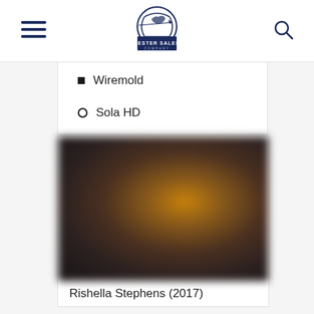Lester Sales Company — navigation header with hamburger menu and search icon
Wiremold
Sola HD
[Figure (photo): Blurred photograph, appears to be a portrait or figure with warm brown and orange tones against a dark background]
Rishella Stephens (2017)